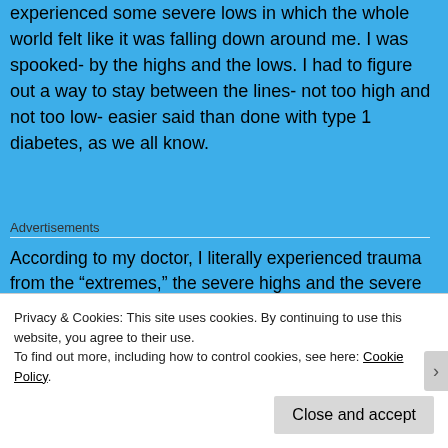experienced some severe lows in which the whole world felt like it was falling down around me.  I was spooked- by the highs and the lows.  I had to figure out a way to stay between the lines- not too high and not too low- easier said than done with type 1 diabetes, as we all know.
Advertisements
According to my doctor, I literally experienced trauma from the “extremes,” the severe highs and the severe lows. This mental trauma has changed my reactions to things, has made me live a hypervigilant life in order to
Privacy & Cookies: This site uses cookies. By continuing to use this website, you agree to their use.
To find out more, including how to control cookies, see here: Cookie Policy
Close and accept